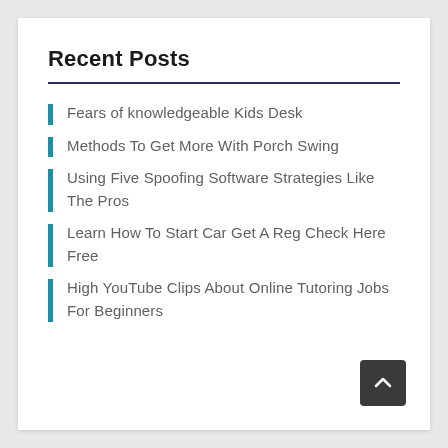Recent Posts
Fears of knowledgeable Kids Desk
Methods To Get More With Porch Swing
Using Five Spoofing Software Strategies Like The Pros
Learn How To Start Car Get A Reg Check Here Free
High YouTube Clips About Online Tutoring Jobs For Beginners